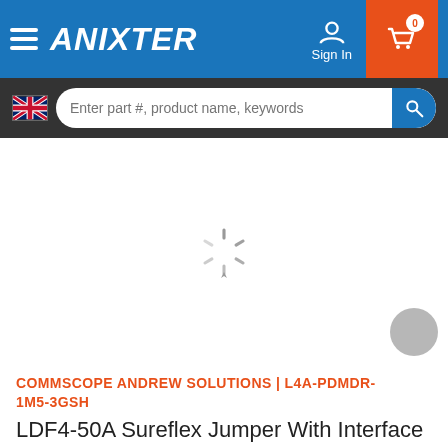[Figure (screenshot): Anixter website navigation bar with hamburger menu, Anixter logo, Sign In icon, and shopping cart with badge showing 0]
[Figure (screenshot): Search bar with UK flag icon, text input placeholder 'Enter part #, product name, keywords', and search button]
[Figure (other): Loading spinner animation in center of white product image area]
COMMSCOPE ANDREW SOLUTIONS | L4A-PDMDR-1M5-3GSH
LDF4-50A Sureflex Jumper With Interface Types 7-16 DIN Male And 7-16 DIN Male Right Angle, 1.5 M